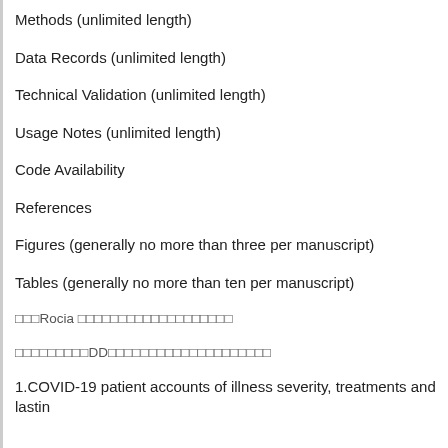Methods (unlimited length)
Data Records (unlimited length)
Technical Validation (unlimited length)
Usage Notes (unlimited length)
Code Availability
References
Figures (generally no more than three per manuscript)
Tables (generally no more than ten per manuscript)
□□□Rocia □□□□□□□□□□□□□□□□□□□
□□□□□□□□□DD□□□□□□□□□□□□□□□□□□□□□
1.COVID-19 patient accounts of illness severity, treatments and lastin